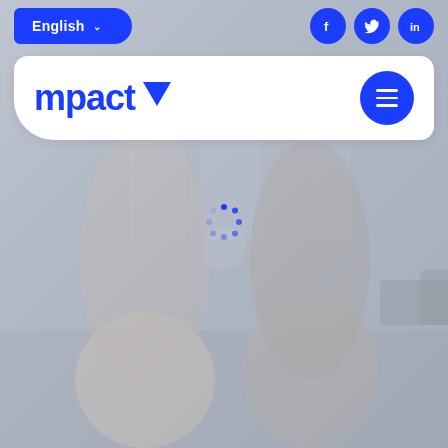[Figure (screenshot): Mpact website screenshot showing header navigation with English language selector and social media icons (Facebook, Twitter, LinkedIn), the mpact logo with blue triangle icon, a hamburger menu button, and a background photo of two women walking on a street with a loading spinner in the center.]